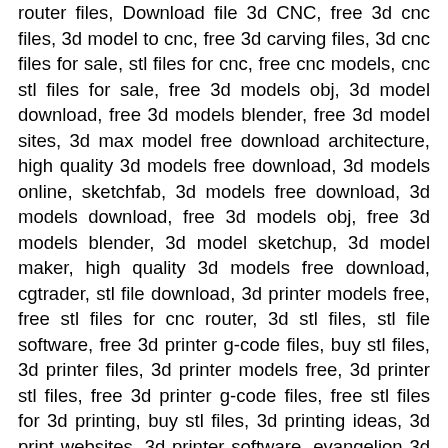router files, Download file 3d CNC, free 3d cnc files, 3d model to cnc, free 3d carving files, 3d cnc files for sale, stl files for cnc, free cnc models, cnc stl files for sale, free 3d models obj, 3d model download, free 3d models blender, free 3d model sites, 3d max model free download architecture, high quality 3d models free download, 3d models online, sketchfab, 3d models free download, 3d models download, free 3d models obj, free 3d models blender, 3d model sketchup, 3d model maker, high quality 3d models free download, cgtrader, stl file download, 3d printer models free, free stl files for cnc router, 3d stl files, stl file software, free 3d printer g-code files, buy stl files, 3d printer files, 3d printer models free, 3d printer stl files, free 3d printer g-code files, free stl files for 3d printing, buy stl files, 3d printing ideas, 3d print websites, 3d printer software, evangelion 3d model, evangelion 3d google, evangelion 3d model free, eva 01 stl, eva 01 3d model, evangelion stl, thingiverse evangelion, eva 02 3d model, artcam 3d relief files free download, artcam 3d model free